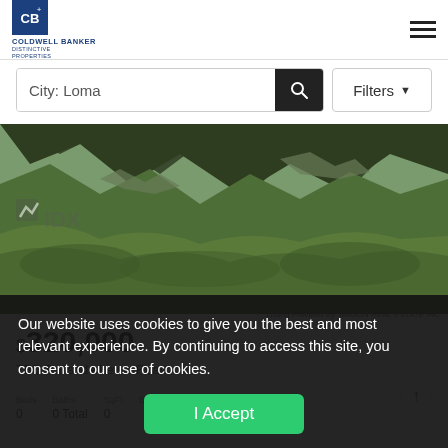[Figure (logo): Coldwell Banker Distinctive Properties logo — blue square with CB monogram, company name text below]
[Figure (photo): Aerial landscape photo of a mountainous canyon with green shrubs and rocky terrain, IDX watermark overlay]
Listing Provided By: MASON REAL ESTATE INC
$320,000
TBD Palisade Lewis Road
| Beds | Baths | SqFt | Built |
| --- | --- | --- | --- |
| 0 | 0 Total | 0 |  |
Our website uses cookies to give you the best and most relevant experience. By continuing to access this site, you consent to our use of cookies.